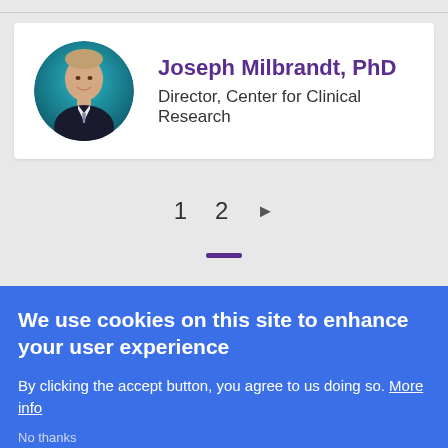[Figure (photo): Circular headshot photo of Joseph Milbrandt, PhD, a middle-aged man in a suit against a teal background]
Joseph Milbrandt, PhD
Director, Center for Clinical Research
1  2  ▶
We use cookies on this site to enhance your user experience
By clicking the accept button, you agree to us doing so. More info
No thanks
Accept